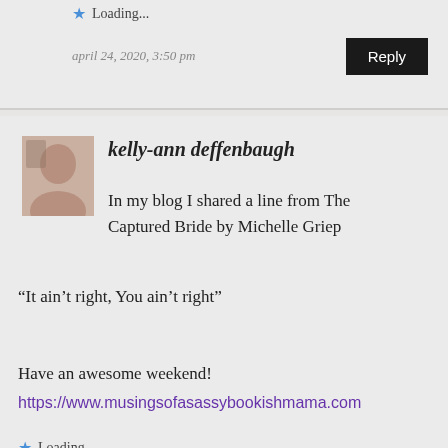Loading...
april 24, 2020, 3:50 pm
Reply
kelly-ann deffenbaugh
In my blog I shared a line from The Captured Bride by Michelle Griep “It ain’t right, You ain’t right”

Have an awesome weekend!
https://www.musingsofasassybookishmama.com
Loading...
april 24, 2020, 3:22 pm
Reply
thebeccafiles